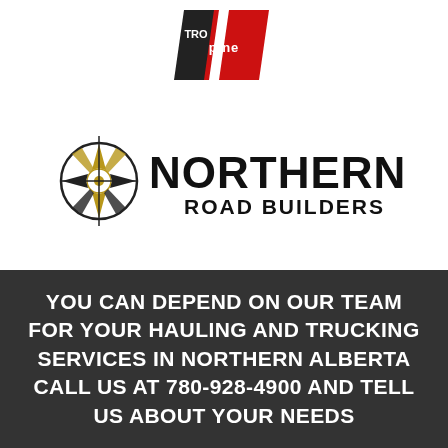[Figure (logo): TRO Alpine logo - partial view at top center, red and black geometric shape with text 'PINE']
[Figure (logo): Northern Road Builders logo - compass rose icon in gold/black followed by bold text 'NORTHERN ROAD BUILDERS']
YOU CAN DEPEND ON OUR TEAM FOR YOUR HAULING AND TRUCKING SERVICES IN NORTHERN ALBERTA CALL US AT 780-928-4900 AND TELL US ABOUT YOUR NEEDS